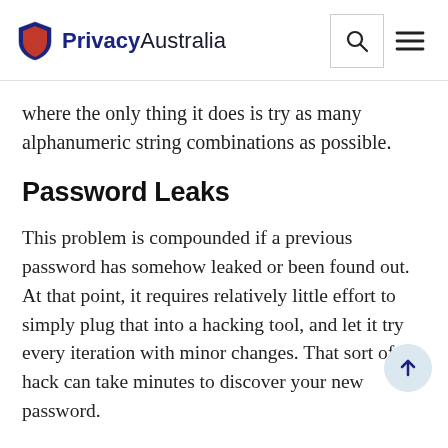PrivacyAustralia
where the only thing it does is try as many alphanumeric string combinations as possible.
Password Leaks
This problem is compounded if a previous password has somehow leaked or been found out. At that point, it requires relatively little effort to simply plug that into a hacking tool, and let it try every iteration with minor changes. That sort of hack can take minutes to discover your new password.
Similarly, password reuse from leaks poses a problem when it comes to using old passwords, even ones that are many years old, on new systems. Just because a